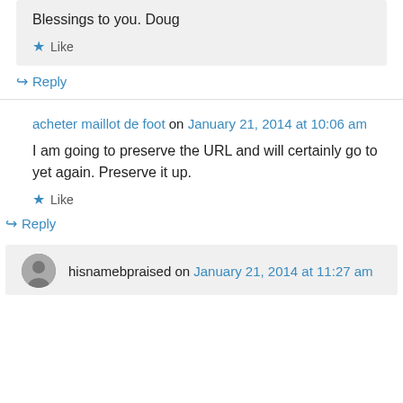Blessings to you. Doug
★ Like
↪ Reply
acheter maillot de foot on January 21, 2014 at 10:06 am
I am going to preserve the URL and will certainly go to yet again. Preserve it up.
★ Like
↪ Reply
hisnamebpraised on January 21, 2014 at 11:27 am